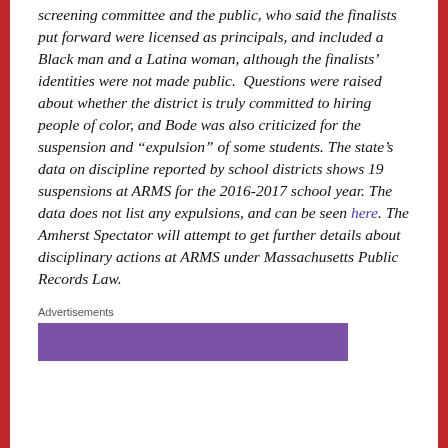screening committee and the public, who said the finalists put forward were licensed as principals, and included a Black man and a Latina woman, although the finalists' identities were not made public.  Questions were raised about whether the district is truly committed to hiring people of color, and Bode was also criticized for the suspension and “expulsion” of some students. The state’s data on discipline reported by school districts shows 19 suspensions at ARMS for the 2016-2017 school year. The data does not list any expulsions, and can be seen here. The Amherst Spectator will attempt to get further details about disciplinary actions at ARMS under Massachusetts Public Records Law.
Advertisements